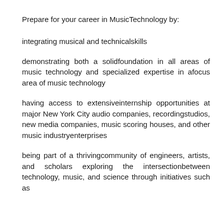Prepare for your career in MusicTechnology by:
integrating musical and technicalskills
demonstrating both a solidfoundation in all areas of music technology and specialized expertise in afocus area of music technology
having access to extensiveinternship opportunities at major New York City audio companies, recordingstudios, new media companies, music scoring houses, and other music industryenterprises
being part of a thrivingcommunity of engineers, artists, and scholars exploring the intersectionbetween technology, music, and science through initiatives such as